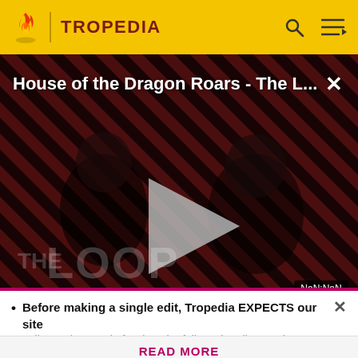TROPEDIA
[Figure (screenshot): Video player showing 'House of the Dragon Roars - The L...' with a play button in the center, diagonal stripe background pattern, 'THE LOOP' branding at bottom left, and NaN:NaN timestamp at bottom right. A close (x) button is at top right.]
when the player left the room and returned. Not too
Before making a single edit, Tropedia EXPECTS our site policy and manual of style to be followed. Failure to do so may
READ MORE